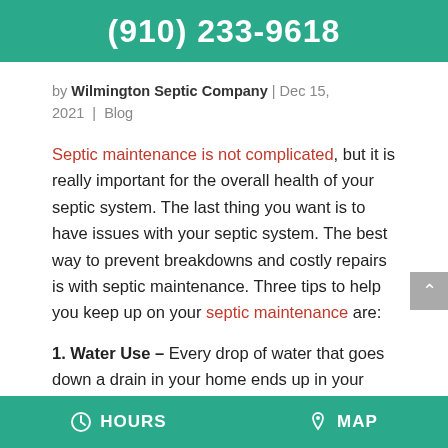(910) 233-9618
by Wilmington Septic Company | Dec 15, 2021 | Blog
Septic maintenance is not complicated, but it is really important for the overall health of your septic system. The last thing you want is to have issues with your septic system. The best way to prevent breakdowns and costly repairs is with septic maintenance. Three tips to help you keep up on your septic maintenance are:
1. Water Use – Every drop of water that goes down a drain in your home ends up in your
HOURS   MAP